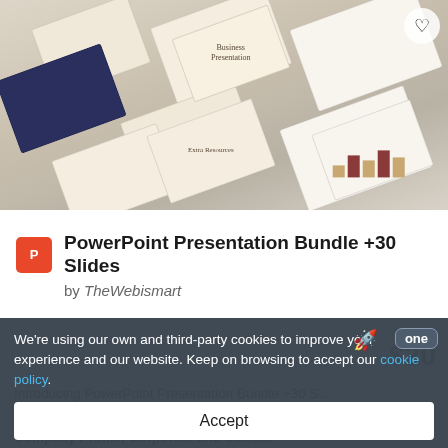[Figure (screenshot): Product preview image showing multiple PowerPoint presentation slide mockups arranged diagonally on a light beige/blue background. Slides show various layouts including a business presentation cover, charts, and extra resources slide.]
PowerPoint Presentation Bundle +30 Slides
by TheWebismart
We're using our own and third-party cookies to improve your experience and our website. Keep on browsing to accept our cookie policy.
Introducing PowerPoint Presentation Bundle +30 S...
any variety of purposes, such as: Creative Agency, Company Profile, Corporate and Sales...
Accept